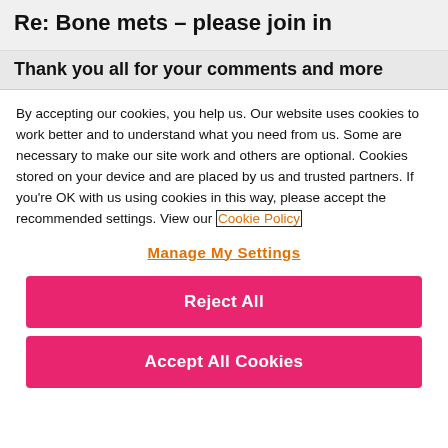Re: Bone mets – please join in
Thank you all for your comments and more
By accepting our cookies, you help us. Our website uses cookies to work better and to understand what you need from us. Some are necessary to make our site work and others are optional. Cookies stored on your device and are placed by us and trusted partners. If you're OK with us using cookies in this way, please accept the recommended settings. View our Cookie Policy
Manage My Settings
Reject All
Accept All Cookies